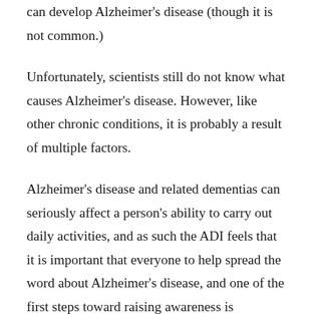can develop Alzheimer's disease (though it is not common.)
Unfortunately, scientists still do not know what causes Alzheimer's disease. However, like other chronic conditions, it is probably a result of multiple factors.
Alzheimer's disease and related dementias can seriously affect a person's ability to carry out daily activities, and as such the ADI feels that it is important that everyone to help spread the word about Alzheimer's disease, and one of the first steps toward raising awareness is educating people on important facts concerning the progression of the illness and the number of older adults that it affects around the world. Here are a few essential facts that